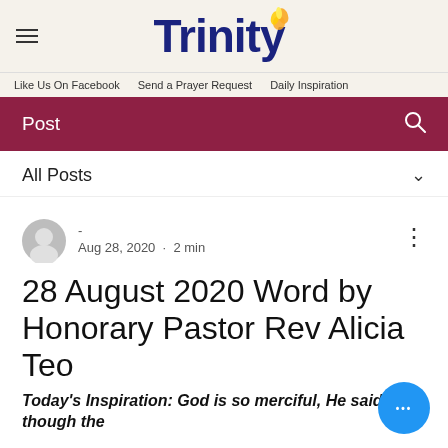Trinity
Like Us On Facebook · Send a Prayer Request · Daily Inspiration
Post
All Posts
- Aug 28, 2020 · 2 min
28 August 2020 Word by Honorary Pastor Rev Alicia Teo
Today's Inspiration: God is so merciful, He said that though the